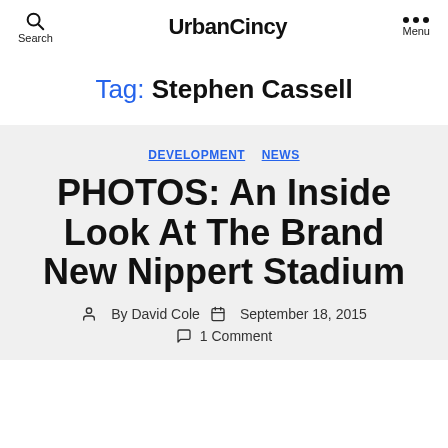UrbanCincy
Tag: Stephen Cassell
DEVELOPMENT NEWS
PHOTOS: An Inside Look At The Brand New Nippert Stadium
By David Cole  September 18, 2015  1 Comment